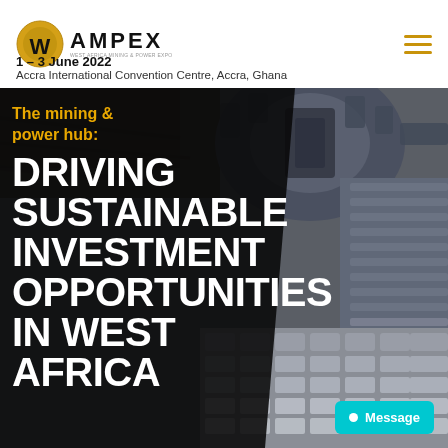[Figure (logo): WAMPEX logo with golden W icon and text AMPEX West Africa Mining & Power Expo]
1 – 3 June 2022
Accra International Convention Centre, Accra, Ghana
[Figure (photo): Close-up industrial mining machinery with dark overlay panel on the left containing white and gold text]
The mining & power hub: DRIVING SUSTAINABLE INVESTMENT OPPORTUNITIES IN WEST AFRICA
Message